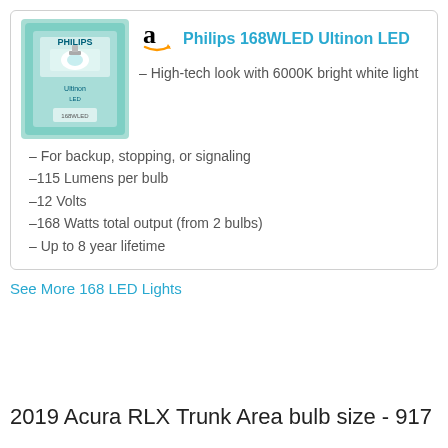[Figure (photo): Philips 168WLED Ultinon LED product box with teal/green packaging]
Philips 168WLED Ultinon LED
– High-tech look with 6000K bright white light
– For backup, stopping, or signaling
–115 Lumens per bulb
–12 Volts
–168 Watts total output (from 2 bulbs)
– Up to 8 year lifetime
See More 168 LED Lights
2019 Acura RLX Trunk Area bulb size - 917